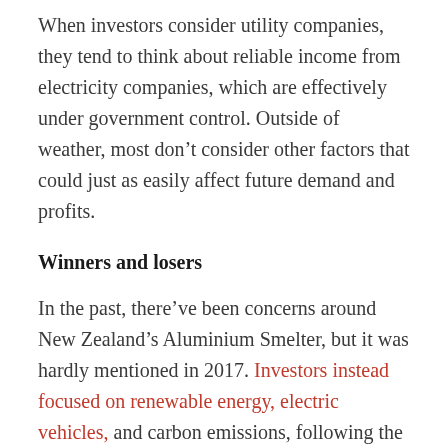When investors consider utility companies, they tend to think about reliable income from electricity companies, which are effectively under government control. Outside of weather, most don't consider other factors that could just as easily affect future demand and profits.
Winners and losers
In the past, there've been concerns around New Zealand's Aluminium Smelter, but it was hardly mentioned in 2017. Investors instead focused on renewable energy, electric vehicles, and carbon emissions, following the change in government. New Zealand First's campaign message about buying back electricity companies grabbed